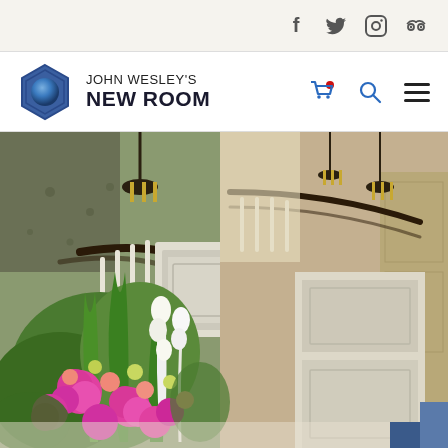Social media icons: Facebook, Twitter, Instagram, TripAdvisor
[Figure (logo): John Wesley's New Room logo with hexagonal emblem and text]
[Figure (photo): Interior of John Wesley's New Room chapel showing flower arrangement in foreground with pink and white flowers, and chapel pulpit with curved stairs and white balustrade in background]